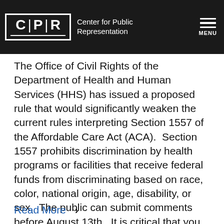[Figure (logo): Center for Public Representation (CPR) logo with navigation bar. Black background with white CPR block letters and hamburger menu.]
The Office of Civil Rights of the Department of Health and Human Services (HHS) has issued a proposed rule that would significantly weaken the current rules interpreting Section 1557 of the Affordable Care Act (ACA). Section 1557 prohibits discrimination by health programs or facilities that receive federal funds from discriminating based on race, color, national origin, age, disability, or sex. The public can submit comments before August 13th. It is critical that you make your voice heard opposing these rollbacks in the ACA's discrimination protections.
Read More ›